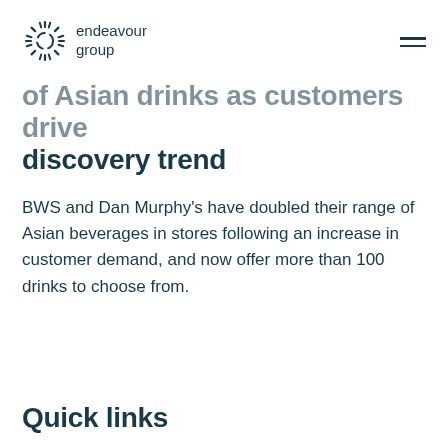endeavour group
of Asian drinks as customers drive discovery trend
BWS and Dan Murphy’s have doubled their range of Asian beverages in stores following an increase in customer demand, and now offer more than 100 drinks to choose from.
Quick links